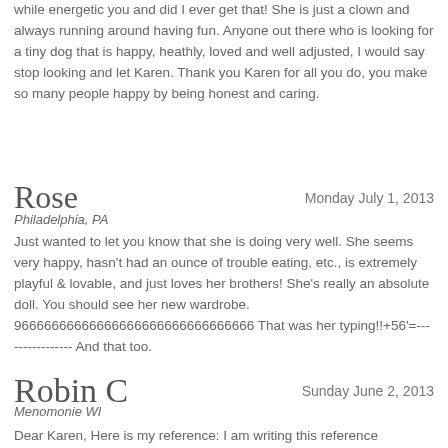while energetic you and did I ever get that! She is just a clown and always running around having fun. Anyone out there who is looking for a tiny dog that is happy, heathly, loved and well adjusted, I would say stop looking and let Karen. Thank you Karen for all you do, you make so many people happy by being honest and caring.
Rose
Monday July 1, 2013
Philadelphia, PA
Just wanted to let you know that she is doing very well. She seems very happy, hasn't had an ounce of trouble eating, etc., is extremely playful & lovable, and just loves her brothers! She's really an absolute doll. You should see her new wardrobe. 96666666666666666666666666666666 That was her typing!!+56'=---------------- And that too.
Robin C
Sunday June 2, 2013
Menomonie WI
Dear Karen, Here is my reference: I am writing this reference